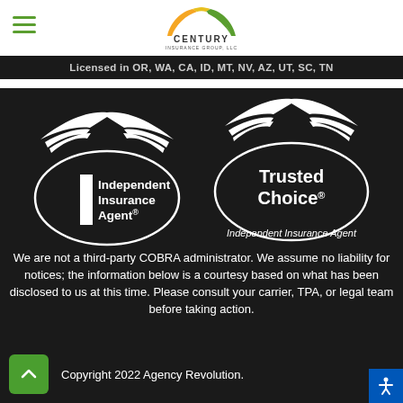[Figure (logo): Century Insurance Group LLC logo with orange/yellow/green arc above text]
Licensed in OR, WA, CA, ID, MT, NV, AZ, UT, SC, TN
[Figure (logo): Independent Insurance Agent badge logo (white on dark, bird/eagle with oval)]
[Figure (logo): Trusted Choice Independent Insurance Agent badge logo (white on dark, bird/eagle with oval)]
We are not a third-party COBRA administrator. We assume no liability for notices; the information below is a courtesy based on what has been disclosed to us at this time. Please consult your carrier, TPA, or legal team before taking action.
Copyright 2022 Agency Revolution.